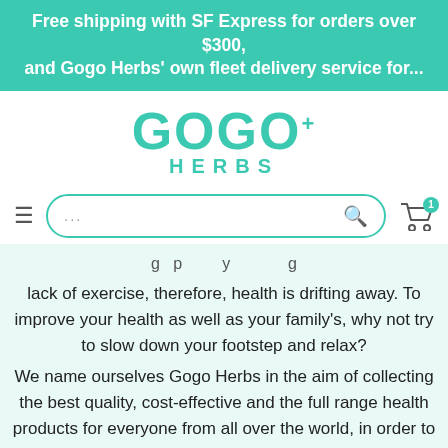Free shipping with SF Express for orders over $300, and Gogo Herbs' own fleet delivery service for...
[Figure (logo): GOGO+ HERBS logo in teal/turquoise color]
[Figure (screenshot): Navigation bar with hamburger menu, search box with ellipsis placeholder and search icon, and shopping cart icon with badge showing 1]
lack of exercise, therefore, health is drifting away. To improve your health as well as your family's, why not try to slow down your footstep and relax? We name ourselves Gogo Herbs in the aim of collecting the best quality, cost-effective and the full range health products for everyone from all over the world, in order to supplement the health needs of Hong Kong people who value efficiency with speed. There is no shortcu... We firmly believe that an active life and good e...